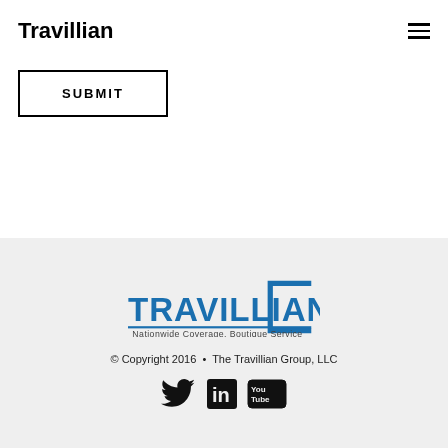Travillian
SUBMIT
[Figure (logo): Travillian logo with text 'TRAVILLIAN' in blue and tagline 'Nationwide Coverage, Boutique Service']
© Copyright 2016 • The Travillian Group, LLC
[Figure (illustration): Social media icons: Twitter bird, LinkedIn 'in', YouTube logo]